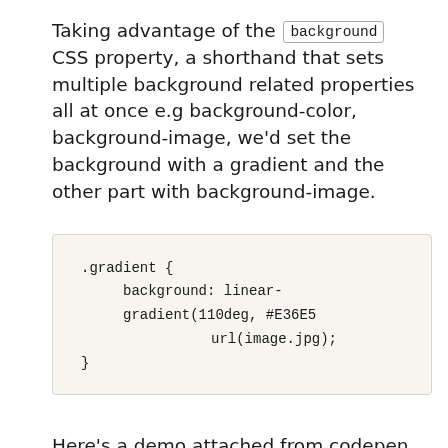Taking advantage of the background CSS property, a shorthand that sets multiple background related properties all at once e.g background-color, background-image, we'd set the background with a gradient and the other part with background-image.
.gradient {
    background: linear-gradient(110deg, #E36E5
                url(image.jpg);
}
Here's a demo attached from codepen.